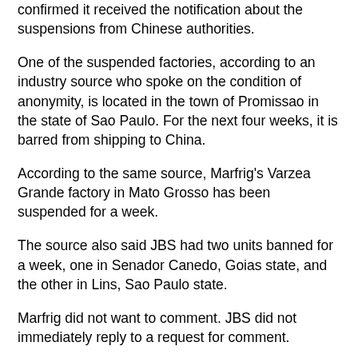confirmed it received the notification about the suspensions from Chinese authorities.
One of the suspended factories, according to an industry source who spoke on the condition of anonymity, is located in the town of Promissao in the state of Sao Paulo. For the next four weeks, it is barred from shipping to China.
According to the same source, Marfrig's Varzea Grande factory in Mato Grosso has been suspended for a week.
The source also said JBS had two units banned for a week, one in Senador Canedo, Goias state, and the other in Lins, Sao Paulo state.
Marfrig did not want to comment. JBS did not immediately reply to a request for comment.
Beijing's decision comes only hours after Brazilian and Chinese officials met and agreed to forward the bilateral trade agenda, which included the signing of a protocol allowing Brazilian corn to be exported to China.